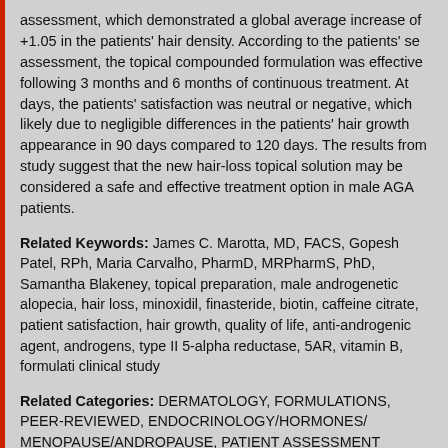assessment, which demonstrated a global average increase of +1.05 in the patients' hair density. According to the patients' self-assessment, the topical compounded formulation was effective following 3 months and 6 months of continuous treatment. At 120 days, the patients' satisfaction was neutral or negative, which was likely due to negligible differences in the patients' hair growth appearance in 90 days compared to 120 days. The results from this study suggest that the new hair-loss topical solution may be considered a safe and effective treatment option in male AGA patients.
Related Keywords: James C. Marotta, MD, FACS, Gopesh Patel, RPh, Maria Carvalho, PharmD, MRPharmS, PhD, Samantha Blakeney, topical preparation, male androgenetic alopecia, hair loss, minoxidil, finasteride, biotin, caffeine citrate, patient satisfaction, hair growth, quality of life, anti-androgenic agent, androgens, type II 5-alpha reductase, 5AR, vitamin B, formulation, clinical study
Related Categories: DERMATOLOGY, FORMULATIONS, PEER-REVIEWED, ENDOCRINOLOGY/HORMONES/MENOPAUSE/ANDROPAUSE, PATIENT ASSESSMENT
Printer-Friendly Version